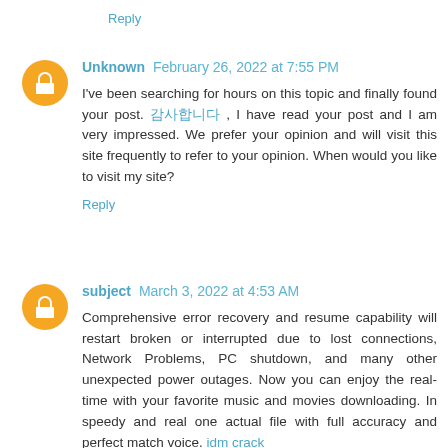Reply
Unknown  February 26, 2022 at 7:55 PM
I've been searching for hours on this topic and finally found your post. 감사합니다 , I have read your post and I am very impressed. We prefer your opinion and will visit this site frequently to refer to your opinion. When would you like to visit my site?
Reply
subject  March 3, 2022 at 4:53 AM
Comprehensive error recovery and resume capability will restart broken or interrupted due to lost connections, Network Problems, PC shutdown, and many other unexpected power outages. Now you can enjoy the real-time with your favorite music and movies downloading. In speedy and real one actual file with full accuracy and perfect match voice. idm crack